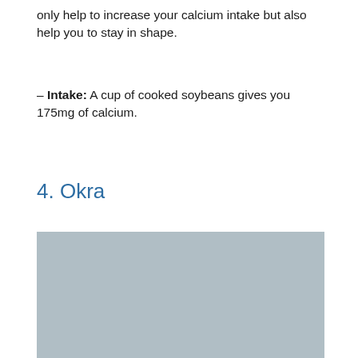only help to increase your calcium intake but also help you to stay in shape.
– Intake: A cup of cooked soybeans gives you 175mg of calcium.
4. Okra
[Figure (photo): A placeholder image (light blue-grey rectangle) showing a photo of okra, not fully rendered.]